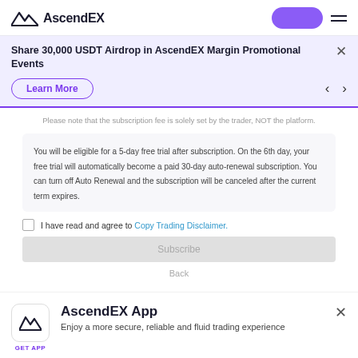[Figure (logo): AscendEX logo with mountain/chart icon and wordmark]
Share 30,000 USDT Airdrop in AscendEX Margin Promotional Events
Learn More
Please note that the subscription fee is solely set by the trader, NOT the platform.
You will be eligible for a 5-day free trial after subscription. On the 6th day, your free trial will automatically become a paid 30-day auto-renewal subscription. You can turn off Auto Renewal and the subscription will be canceled after the current term expires.
I have read and agree to Copy Trading Disclaimer.
Subscribe
Back
AscendEX App
Enjoy a more secure, reliable and fluid trading experience
GET APP